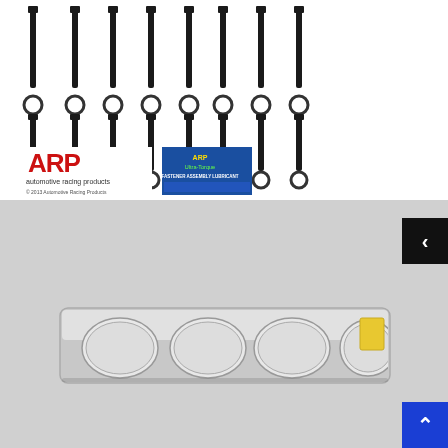[Figure (photo): Top-down product photo showing engine head bolts/studs (two rows of long black bolts and two rows of washers/nuts), plus ARP brand logo and a blue ARP 'Fastener Assembly Lubricant' bottle package. Copyright 2013 Automotive Racing Products watermark visible.]
[Figure (photo): Product photo of a metallic engine head gasket (multi-layer steel) laid flat showing four circular bore openings in a row, with a yellow label sticker on the right end. Photographed on a light grey background.]